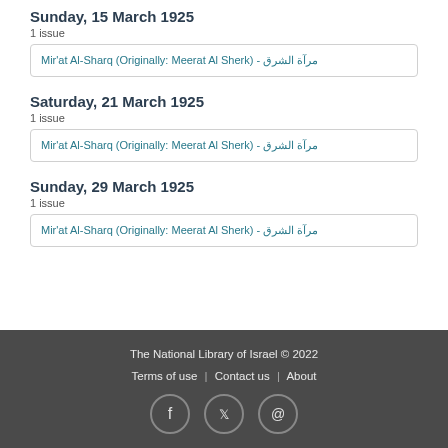Sunday, 15 March 1925
1 issue
Mir'at Al-Sharq (Originally: Meerat Al Sherk) - مرآة الشرق
Saturday, 21 March 1925
1 issue
Mir'at Al-Sharq (Originally: Meerat Al Sherk) - مرآة الشرق
Sunday, 29 March 1925
1 issue
Mir'at Al-Sharq (Originally: Meerat Al Sherk) - مرآة الشرق
The National Library of Israel © 2022 | Terms of use | Contact us | About